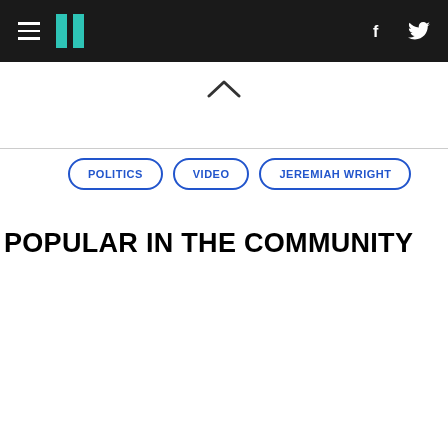HuffPost navigation header with hamburger menu, logo, Facebook and Twitter icons
[Figure (other): Chevron up arrow symbol]
POLITICS
VIDEO
JEREMIAH WRIGHT
POPULAR IN THE COMMUNITY